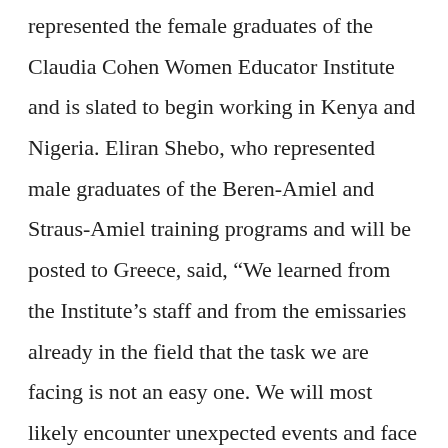represented the female graduates of the Claudia Cohen Women Educator Institute and is slated to begin working in Kenya and Nigeria. Eliran Shebo, who represented male graduates of the Beren-Amiel and Straus-Amiel training programs and will be posted to Greece, said, “We learned from the Institute’s staff and from the emissaries already in the field that the task we are facing is not an easy one. We will most likely encounter unexpected events and face challenges we have never confronted. However, the comprehensive training we received along with the close support of the Straus-Amiel Institute rabbis will help us overcome these challenges.”